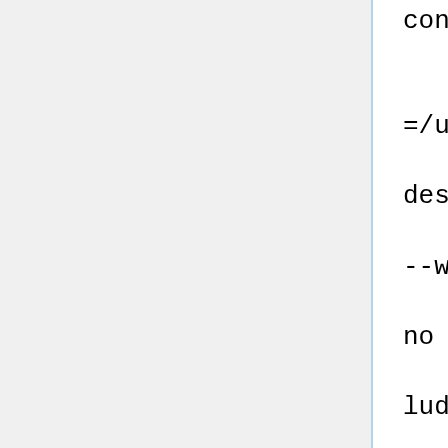config \
    --with-wxwidgets --with-geos \
    --with-blas --with-blas-includes=/usr/include/atlas/ \
    --with-lapack --with-lapack-includes=/usr/include/atlas/ \
    --with-netcdf=/usr/bin/nc-config --with-odbc=yes \
    --with-openmp=yes --with-pthread=no --with-postgres=yes \
    --with-postgres-includes=/usr/include/postgresql \
    --with-postgres-libs=/usr/lib/postgresql \
    --with-mysql=yes --with-mysql-includes=/usr/include/mysq